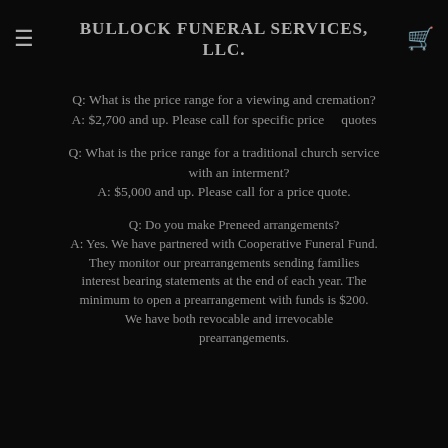Q: Can you mail cremains out of state? A: Beginning January 1, 2014 you can mail out of state of New York (USPS Priority)
Bullock Funeral Services, LLC.
Q: What is the price range for a viewing and cremation? A: $2,700 and up. Please call for specific price quotes
Q: What is the price range for a traditional church service with an interment? A: $5,000 and up. Please call for a price quote.
Q: Do you make Preneed arrangements? A: Yes. We have partnered with Cooperative Funeral Fund. They monitor our prearrangements sending families interest bearing statements at the end of each year. The minimum to open a prearrangement with funds is $200. We have both revocable and irrevocable prearrangements.